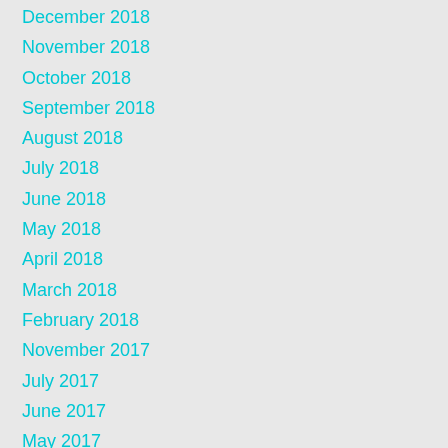December 2018
November 2018
October 2018
September 2018
August 2018
July 2018
June 2018
May 2018
April 2018
March 2018
February 2018
November 2017
July 2017
June 2017
May 2017
April 2017
March 2017
January 2017
December 2016
September 2016